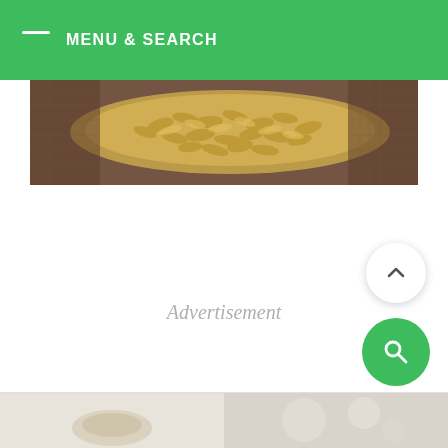MENU & SEARCH
[Figure (photo): Close-up photo of rolled oats/grains on a burlap/hessian textile background]
Advertisement
[Figure (photo): Two thumbnail images at bottom of page, left shows a light food item on pale background, right shows blurred bokeh food image]
[Figure (other): Back-to-top arrow button (chevron up, white circle with shadow)]
[Figure (other): Search button (magnifying glass icon, green circle)]